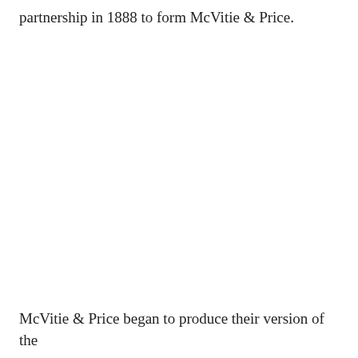partnership in 1888 to form McVitie & Price.
McVitie & Price began to produce their version of the